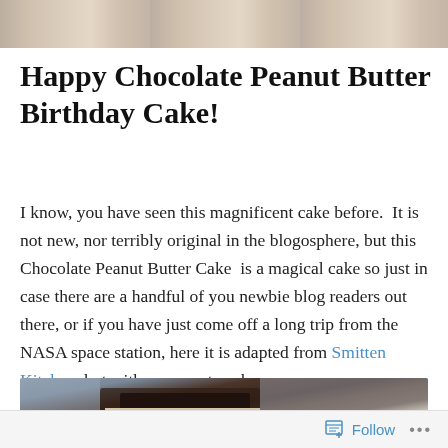[Figure (photo): Top portion of a food photo showing a cake with cream/frosting on a light background]
Happy Chocolate Peanut Butter Birthday Cake!
I know, you have seen this magnificent cake before.  It is not new, nor terribly original in the blogosphere, but this Chocolate Peanut Butter Cake  is a magical cake so just in case there are a handful of you newbie blog readers out there, or if you have just come off a long trip from the NASA space station, here it is adapted from Smitten Kitchen, but with my own tweaks.
[Figure (photo): Close-up photo of a slice of chocolate cake with peanut butter frosting/filling, showing the dark chocolate layers and white/cream frosting]
Follow  ...